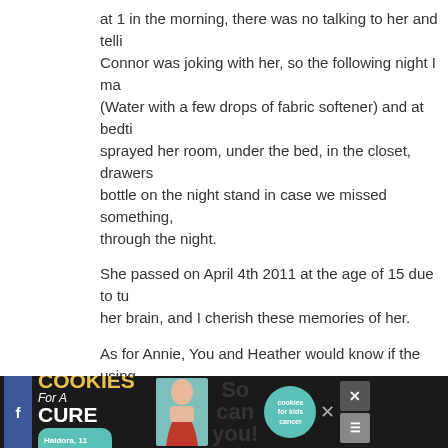at 1 in the morning, there was no talking to her and telli... Connor was joking with her, so the following night I ma... (Water with a few drops of fabric softener) and at bedti... sprayed her room, under the bed, in the closet, drawers... bottle on the night stand in case we missed something, ... through the night.
She passed on April 4th 2011 at the age of 15 due to tu... her brain, and I cherish these memories of her.
As for Annie, You and Heather would know if the using... would have freaked her out, and then you would have f... different way to deter her from the filter, she is groing u... magic of Princesses and Kings, and I bet she would be t... overload at Disneyland right now.
> Reply
29. Jana says: MAY 31ST, 2012 AT 8:43 AM
I think it’s “creepy” that they were so intent and interes...
[Figure (infographic): Advertisement banner: 'I Bake COOKIES For A CURE' with an image of a girl, tagline 'So can you!' and a teal cookies for kids cancer logo. Dark background with social media icons on the right.]